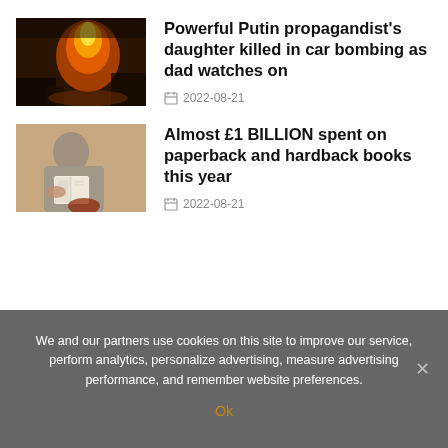[Figure (photo): News thumbnail: fire/explosion scene at night, orange flames visible]
Powerful Putin propagandist's daughter killed in car bombing as dad watches on
2022-08-21
[Figure (photo): News thumbnail: person reading a book, wearing grey clothing]
Almost £1 BILLION spent on paperback and hardback books this year
2022-08-21
We and our partners use cookies on this site to improve our service, perform analytics, personalize advertising, measure advertising performance, and remember website preferences.
Ok